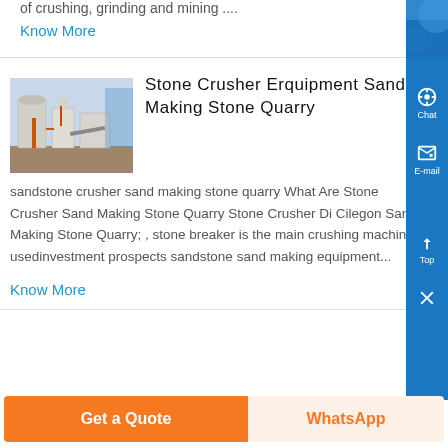of crushing, grinding and mining ....
Know More
Stone Crusher Erquipment Sand Making Stone Quarry
[Figure (photo): Industrial stone crusher equipment facility with tanks and pipes]
sandstone crusher sand making stone quarry What Are Stone Crusher Sand Making Stone Quarry Stone Crusher Di Cilegon Sand Making Stone Quarry; , stone breaker is the main crushing machine usedinvestment prospects sandstone sand making equipment...
Know More